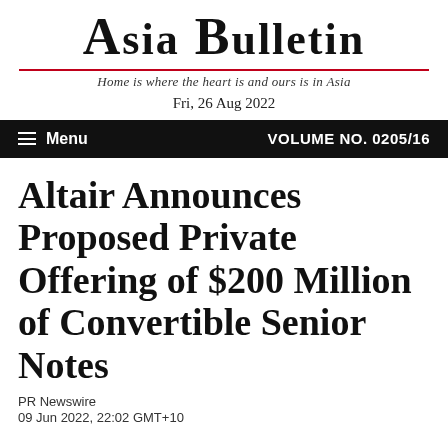ASIA BULLETIN
Home is where the heart is and ours is in Asia
Fri, 26 Aug 2022
Menu   VOLUME NO. 0205/16
Altair Announces Proposed Private Offering of $200 Million of Convertible Senior Notes
PR Newswire
09 Jun 2022, 22:02 GMT+10